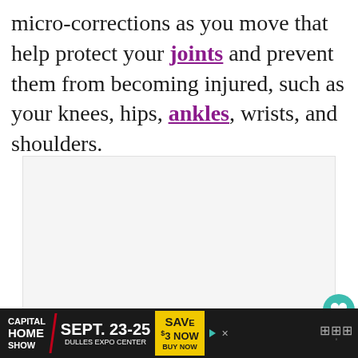micro-corrections as you move that help protect your joints and prevent them from becoming injured, such as your knees, hips, ankles, wrists, and shoulders.
[Figure (photo): Image area showing a photo (content not visible), with navigation dots at bottom]
[Figure (screenshot): Advertisement banner: Capital Home Show, Sept. 23-25, Dulles Expo Center, Save $3 Now, Buy Now]